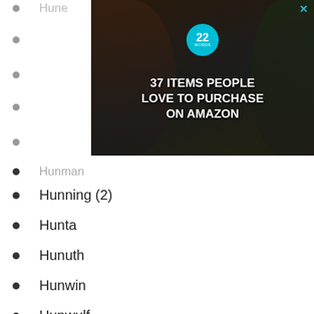[Figure (screenshot): Advertisement banner: '37 ITEMS PEOPLE LOVE TO PURCHASE ON AMAZON' with a teal circular badge showing '22 WORDS', displayed over a dark background with kitchen items]
Hune
Hunman
Hunning (2)
Hunta
Hunuth
Hunwin
Hunwulf
We use cookies on our website to give you the most relevant experience by remembering your preferences and repeat visits. By clicking “Accept”, you consent to the use of ALL the cookies.
Do not sell my personal information.
[Figure (screenshot): Bottom advertisement banner: '37 BEAUTY PRODUCTS WITH SUCH GOOD REVIEWS YOU MIGHT WANT TO TRY THEM YOURSELF' with teal badge '22 WORDS']